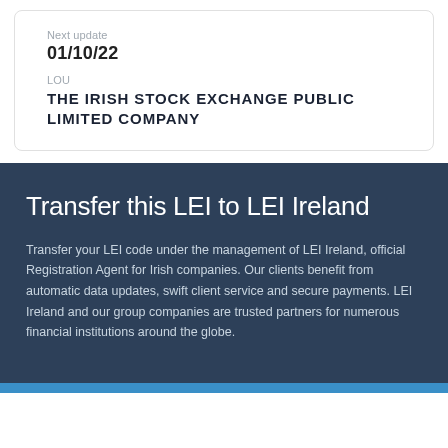Next update
01/10/22
LOU
THE IRISH STOCK EXCHANGE PUBLIC LIMITED COMPANY
Transfer this LEI to LEI Ireland
Transfer your LEI code under the management of LEI Ireland, official Registration Agent for Irish companies. Our clients benefit from automatic data updates, swift client service and secure payments. LEI Ireland and our group companies are trusted partners for numerous financial institutions around the globe.